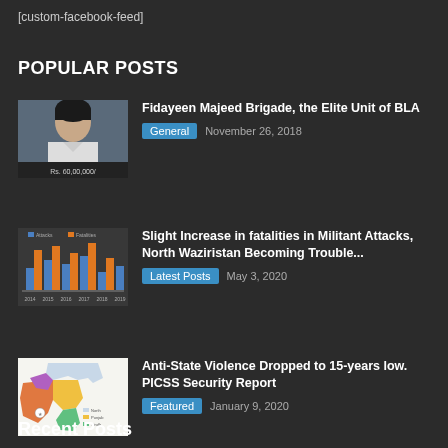[custom-facebook-feed]
POPULAR POSTS
Fidayeen Majeed Brigade, the Elite Unit of BLA | General | November 26, 2018
Slight Increase in fatalities in Militant Attacks, North Waziristan Becoming Trouble... | Latest Posts | May 3, 2020
Anti-State Violence Dropped to 15-years low. PICSS Security Report | Featured | January 9, 2020
Recent Posts